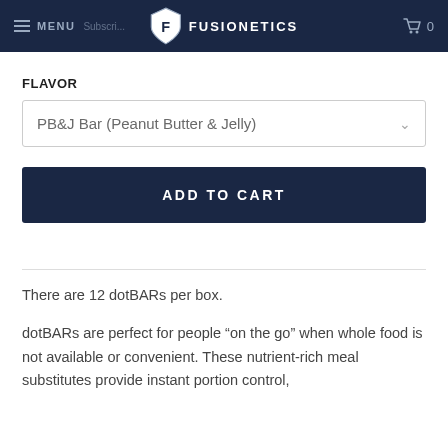MENU | FUSIONETICS | 0
FLAVOR
PB&J Bar (Peanut Butter & Jelly)
ADD TO CART
There are 12 dotBARs per box.
dotBARs are perfect for people “on the go” when whole food is not available or convenient. These nutrient-rich meal substitutes provide instant portion control,